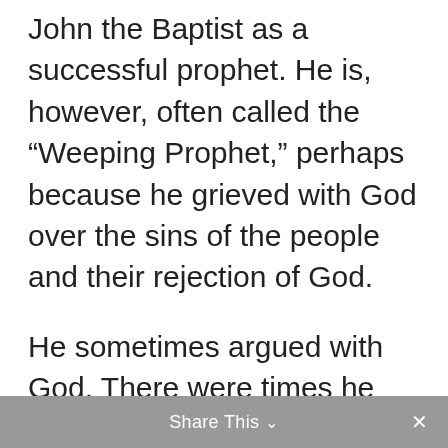John the Baptist as a successful prophet. He is, however, often called the “Weeping Prophet,” perhaps because he grieved with God over the sins of the people and their rejection of God.
He sometimes argued with God. There were times he wanted to quit–yes, even die. (Jer. 20:14-18). But God’s fiery message and compassionate heart so fueled the fire in his bones, that not even his tears could drench the flames. Listen to his words in Jeremiah 20:7-9 NLT):
Share This ∨  ×